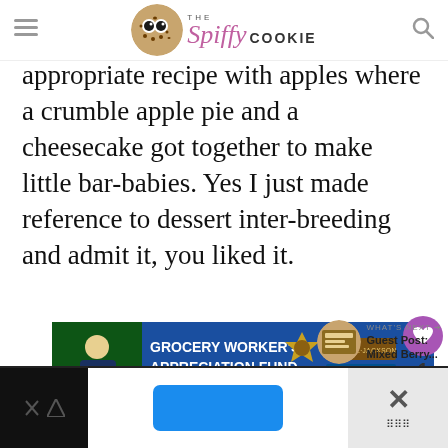THE Spiffy COOKIE — navigation bar with hamburger menu and search icon
appropriate recipe with apples where a crumble apple pie and a cheesecake got together to make little bar-babies. Yes I just made reference to dessert inter-breeding and admit it, you liked it.
[Figure (screenshot): Grocery Worker's Appreciation Fund advertisement banner with Kendall Jackson and United Way logos]
[Figure (infographic): Heart/like button showing count of 1, and share button on right sidebar]
[Figure (infographic): What's Next promo: thumbnail image with text 'Guest Post: Mixed Berry...']
[Figure (screenshot): Bottom advertisement bar with X close button and blue button in center]